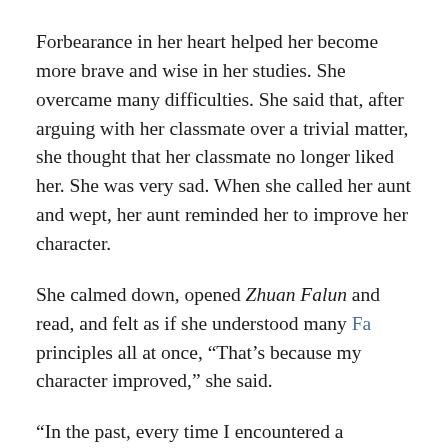Forbearance in her heart helped her become more brave and wise in her studies. She overcame many difficulties. She said that, after arguing with her classmate over a trivial matter, she thought that her classmate no longer liked her. She was very sad. When she called her aunt and wept, her aunt reminded her to improve her character.
She calmed down, opened Zhuan Falun and read, and felt as if she understood many Fa principles all at once, “That’s because my character improved,” she said.
“In the past, every time I encountered a problem, it seemed that the adults would handle it for me, and the sky would not fall down,” Huixin said. “Now I’m alone in Taiwan, and I have to face the issues myself. After